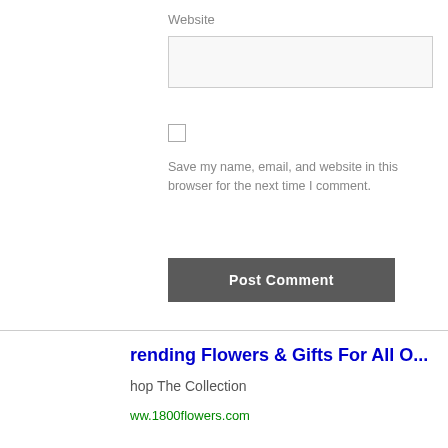Website
[Figure (screenshot): Empty text input field for website URL]
[Figure (screenshot): Unchecked checkbox]
Save my name, email, and website in this browser for the next time I comment.
[Figure (screenshot): Post Comment button (dark gray)]
[Figure (screenshot): Horizontal divider line]
rending Flowers & Gifts For All O...
hop The Collection
ww.1800flowers.com
[Figure (photo): Young woman with sunglasses outdoors near a fence, holding flowers]
[Figure (other): Navigation arrow button (right chevron) with blue circle on lavender circle background]
RELATED